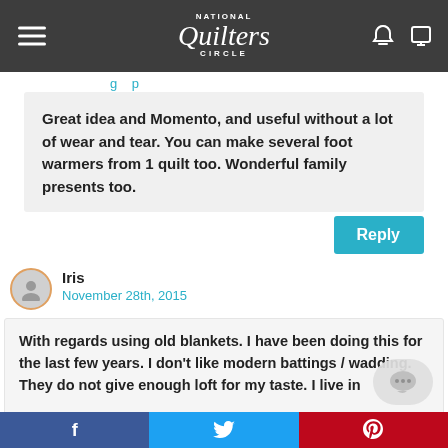National Quilters Circle
Great idea and Momento, and useful without a lot of wear and tear. You can make several foot warmers from 1 quilt too. Wonderful family presents too.
Reply
Iris
November 28th, 2015
With regards using old blankets. I have been doing this for the last few years. I don't like modern battings / wadding. They do not give enough loft for my taste. I live in [?] and a wool filling is our tradition. I use second han[d...]